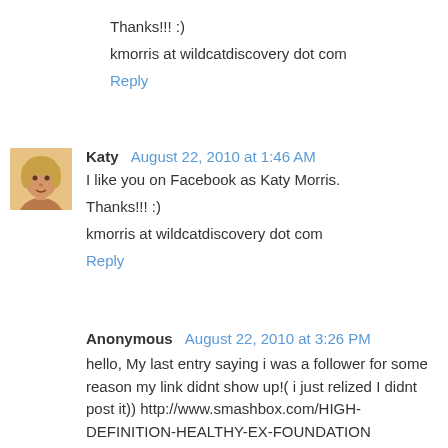Thanks!!! :)
kmorris at wildcatdiscovery dot com
Reply
Katy  August 22, 2010 at 1:46 AM
I like you on Facebook as Katy Morris.
Thanks!!! :)
kmorris at wildcatdiscovery dot com
Reply
Anonymous  August 22, 2010 at 3:26 PM
hello, My last entry saying i was a follower for some reason my link didnt show up!( i just relized I didnt post it)) http://www.smashbox.com/HIGH-DEFINITION-HEALTHY-EX-FOUNDATION